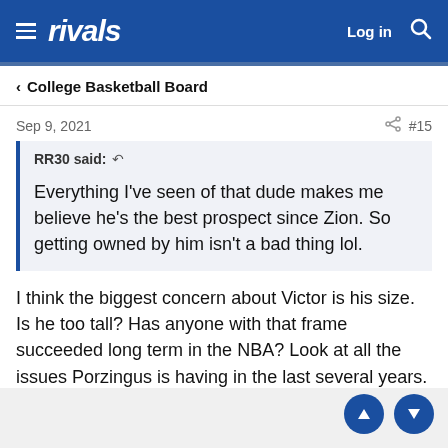rivals  Log in
College Basketball Board
Sep 9, 2021  #15
RR30 said: Everything I've seen of that dude makes me believe he's the best prospect since Zion. So getting owned by him isn't a bad thing lol.
I think the biggest concern about Victor is his size. Is he too tall? Has anyone with that frame succeeded long term in the NBA? Look at all the issues Porzingus is having in the last several years.